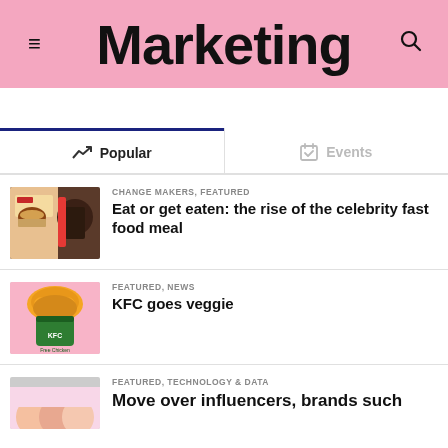Marketing
Popular
Events
CHANGE MAKERS, FEATURED
Eat or get eaten: the rise of the celebrity fast food meal
FEATURED, NEWS
KFC goes veggie
FEATURED, TECHNOLOGY & DATA
Move over influencers, brands such